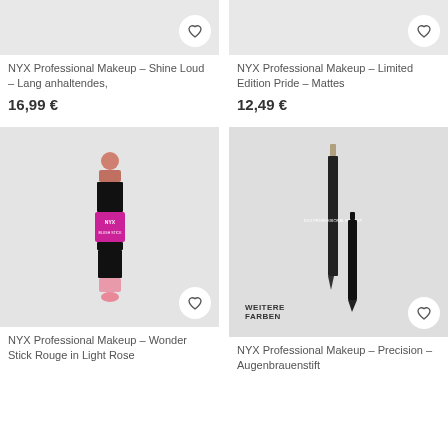[Figure (photo): NYX Shine Loud product image (cropped top), light gray background with heart icon]
[Figure (photo): NYX Limited Edition Pride product image (cropped top), gray background with heart icon]
NYX Professional Makeup – Shine Loud – Lang anhaltendes,
16,99 €
NYX Professional Makeup – Limited Edition Pride – Mattes
12,49 €
[Figure (photo): NYX Wonder Stick Rouge double-ended blush stick with pink packaging and NYX logo]
[Figure (photo): NYX Precision eyebrow pencil, two pieces shown on gray background, with WEITERE FARBEN label and heart icon]
NYX Professional Makeup – Wonder Stick Rouge in Light Rose
NYX Professional Makeup – Precision – Augenbrauenstift